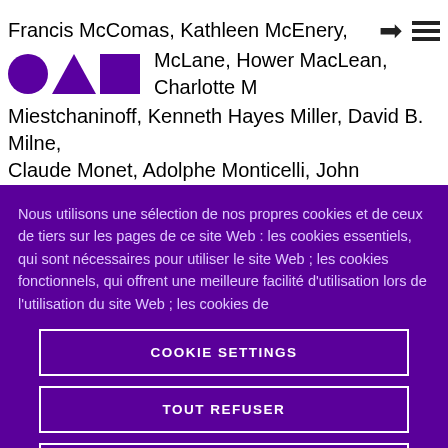Francis McComas, Kathleen McEnery, McLane, Hower MacLean, Charlotte M Miestchaninoff, Kenneth Hayes Miller, David B. Milne, Claude Monet, Adolphe Monticelli, John Mowbray-
Nous utilisons une sélection de nos propres cookies et de ceux de tiers sur les pages de ce site Web : les cookies essentiels, qui sont nécessaires pour utiliser le site Web ; les cookies fonctionnels, qui offrent une meilleure facilité d'utilisation lors de l'utilisation du site Web ; les cookies de
COOKIE SETTINGS
TOUT REFUSER
TOUT ACCEPTER